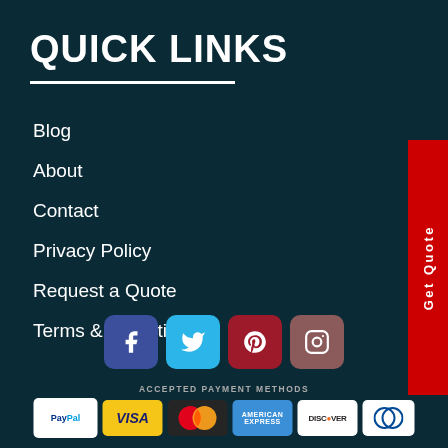QUICK LINKS
Blog
About
Contact
Privacy Policy
Request a Quote
Terms & Conditions
[Figure (other): Get Quote red tab on the right side]
[Figure (other): Social media icons: Facebook, Twitter, Pinterest, Instagram]
ACCEPTED PAYMENT METHODS
[Figure (other): Payment method icons: PayPal, VISA, MasterCard, American Express, Discover, Diners Club]